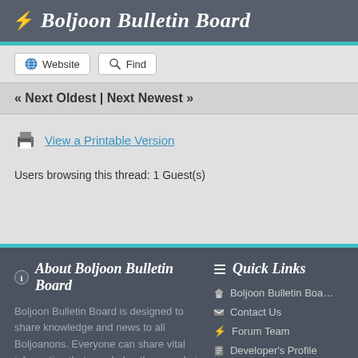⚡ Boljoon Bulletin Board
Website
Find
« Next Oldest | Next Newest »
View a Printable Version
Users browsing this thread: 1 Guest(s)
ℹ About Boljoon Bulletin Board
Boljoon Bulletin Board is designed to share knowledge and news to all Boljoanons. Everyone can share vital information that may help other people in some areas. The main purpose of this forum is to spread as
≡ Quick Links
Boljoon Bulletin Boa…
Contact Us
Forum Team
Developer's Profile